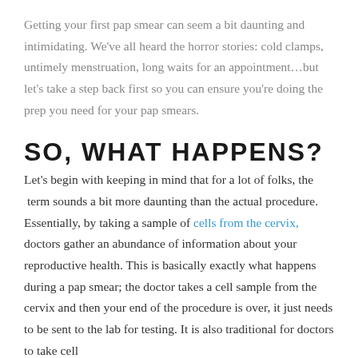Getting your first pap smear can seem a bit daunting and intimidating. We've all heard the horror stories: cold clamps, untimely menstruation, long waits for an appointment…but let's take a step back first so you can ensure you're doing the prep you need for your pap smears.
SO, WHAT HAPPENS?
Let's begin with keeping in mind that for a lot of folks, the  term sounds a bit more daunting than the actual procedure. Essentially, by taking a sample of cells from the cervix, doctors gather an abundance of information about your reproductive health. This is basically exactly what happens during a pap smear; the doctor takes a cell sample from the cervix and then your end of the procedure is over, it just needs to be sent to the lab for testing. It is also traditional for doctors to take cell